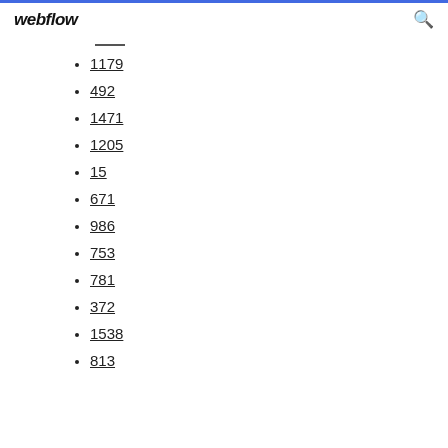webflow
1179
492
1471
1205
15
671
986
753
781
372
1538
813